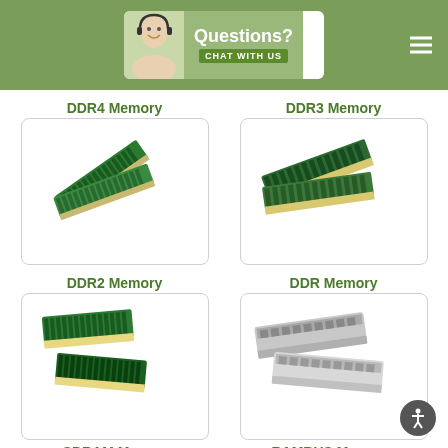[Figure (screenshot): Website header with green background, chat support banner showing a person with headset and 'Questions? Chat With Us' text, and hamburger menu icon on the right]
DDR4 Memory
DDR3 Memory
[Figure (photo): Two DDR4 RAM sticks crossed diagonally on white background]
[Figure (photo): Two DDR3 RAM sticks angled on white background]
DDR2 Memory
DDR Memory
[Figure (photo): Two DDR2 RAM sticks standing upright on white background]
[Figure (photo): Two silver DDR RAM sticks with heat spreaders on white background]
SDRAM Memory
RAMBUS Memory